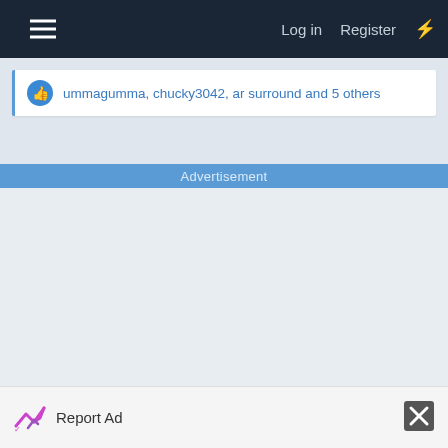Log in  Register
ummagumma, chucky3042, ar surround and 5 others
Advertisement
[Figure (other): Empty advertisement area with light gray background]
Report Ad